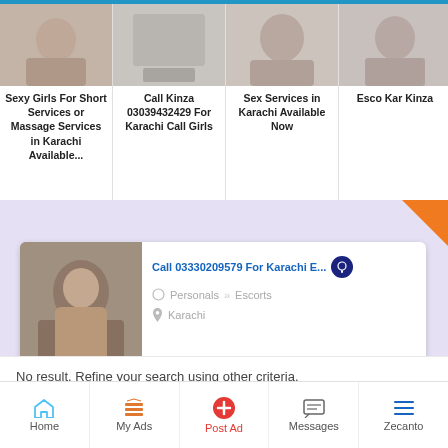[Figure (screenshot): Top strip blue bar at the top of the page]
Sexy Girls For Short Services or Massage Services in Karachi Available...
Call Kinza 03039432429 For Karachi Call Girls
Sex Services in Karachi Available Now
Esco Kar Kinza
[Figure (photo): Ad listing card with photo: Call 03330209579 For Karachi E... with badge icon, Personals > Escorts category, Karachi location]
Call 03330209579 For Karachi E...
Personals » Escorts
Karachi
Want your ad here?
No result. Refine your search using other criteria.
Home   My Ads   Post Ad   Messages   Zecanto